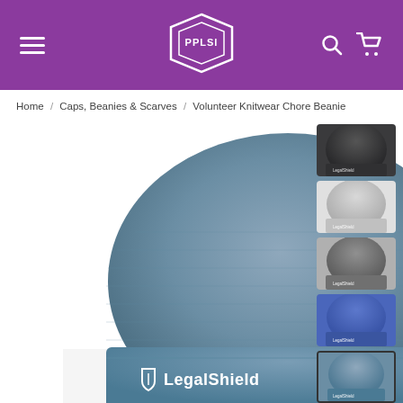PPLSI navigation header with hamburger menu, PPLSI logo, search and cart icons
Home / Caps, Beanies & Scarves / Volunteer Knitwear Chore Beanie
[Figure (photo): Large product photo of a slate blue LegalShield branded knit beanie hat with rolled cuff and embroidered LegalShield logo with shield icon]
[Figure (photo): Thumbnail of dark charcoal/black LegalShield beanie]
[Figure (photo): Thumbnail of light gray LegalShield beanie]
[Figure (photo): Thumbnail of medium gray LegalShield beanie]
[Figure (photo): Thumbnail of blue LegalShield beanie]
[Figure (photo): Thumbnail of slate blue LegalShield beanie (currently selected, outlined)]